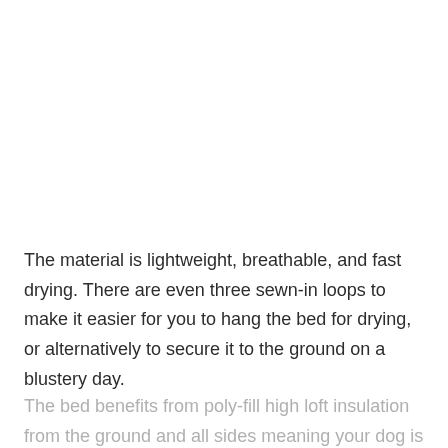The material is lightweight, breathable, and fast drying. There are even three sewn-in loops to make it easier for you to hang the bed for drying, or alternatively to secure it to the ground on a blustery day.
The bed benefits from poly-fill high loft insulation from the ground and all sides meaning your dog is protected